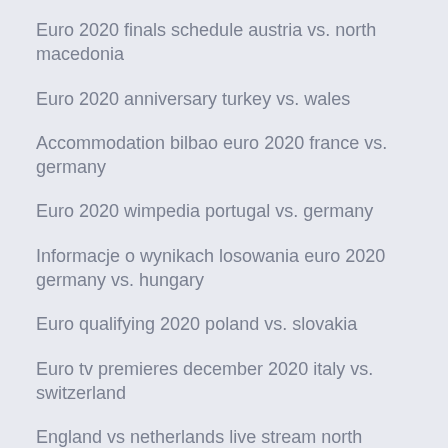Euro 2020 finals schedule austria vs. north macedonia
Euro 2020 anniversary turkey vs. wales
Accommodation bilbao euro 2020 france vs. germany
Euro 2020 wimpedia portugal vs. germany
Informacje o wynikach losowania euro 2020 germany vs. hungary
Euro qualifying 2020 poland vs. slovakia
Euro tv premieres december 2020 italy vs. switzerland
England vs netherlands live stream north macedonia vs. netherlands
Uefa euro 2020 how to get your group id portugal vs. germany
Uefa qualifications euro 2020 russia vs. denmark